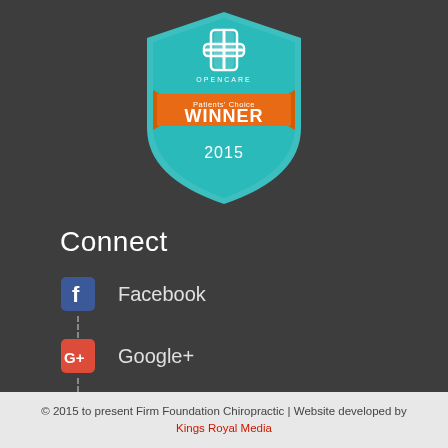[Figure (logo): Opencare Patients' Choice WINNER 2015 badge/award shield. Teal/cyan shield shape with a medical cross at top, orange ribbon banner with 'Patients' Choice WINNER' text, and '2015' text at bottom of shield.]
Connect
Facebook
Google+
LinkedIn
© 2015 to present Firm Foundation Chiropractic | Website developed by Kings Royal Media